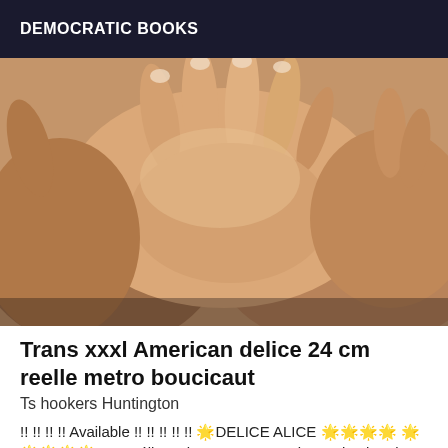DEMOCRATIC BOOKS
[Figure (photo): Close-up photograph of hands touching or overlapping, skin tones visible, appears to be adult and smaller hands]
Trans xxxl American delice 24 cm reelle metro boucicaut
Ts hookers Huntington
!! !! !! !! Available !! !! !! !! !! 🌟DELICE ALICE 🌟🌟🌟🌟 🌟🌟🌟🌟🌟 Les Délices d ALICE . 24cm circumcised and juicy